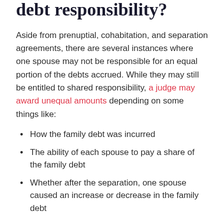debt responsibility?
Aside from prenuptial, cohabitation, and separation agreements, there are several instances where one spouse may not be responsible for an equal portion of the debts accrued. While they may still be entitled to shared responsibility, a judge may award unequal amounts depending on some things like:
How the family debt was incurred
The ability of each spouse to pay a share of the family debt
Whether after the separation, one spouse caused an increase or decrease in the family debt
Who can creditors go after for money owed?